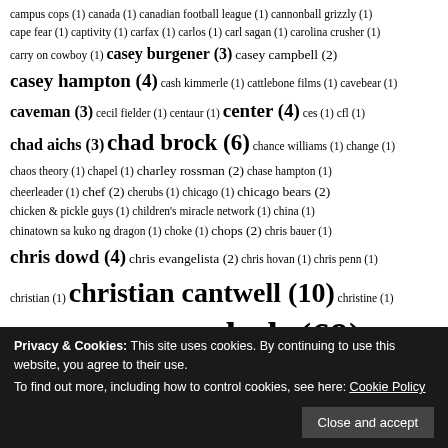campus cops (1)  canada (1)  canadian football league (1)  cannonball grizzly (1)
cape fear (1)  captivity (1)  carfax (1)  carlos (1)  carl sagan (1)  carolina crusher (1)
carry on cowboy (1)  casey burgener (3)  casey campbell (2)
casey hampton (4)  cash kimmerle (1)  cattlebone films (1)  cavebear (1)
caveman (3)  cecil fielder (1)  centaur (1)  center (4)  ces (1)  cfl (1)
chad aichs (3)  chad brock (6)  chance williams (1)  change (1)
chaos theory (1)  chapel (1)  charley rossman (2)  chase hampton (1)
cheerleader (1)  chef (2)  cherubs (1)  chicago (1)  chicago bears (2)
chicken & pickle guys (1)  children's miracle network (1)  china (1)
chinatown sa kuko ng dragon (1)  choke (1)  chops (2)  chris bauer (1)
chris dowd (4)  chris evangelista (2)  chris hovan (1)  chris penn (1)
christian (1)  christian cantwell (10)  christine (1)
christopher bauer (1)  christopher dowd (1)  chub (69)
chubarama (6)  chubarama.net (2)  chubbies (3)  chubb rock (1)
chubby (15)  chubby bear (137)
Privacy & Cookies: This site uses cookies. By continuing to use this website, you agree to their use. To find out more, including how to control cookies, see here: Cookie Policy
cloverhrawl (1)  clubber lang (1)  coach (1)  coen brothers (1)  coldstone (1)